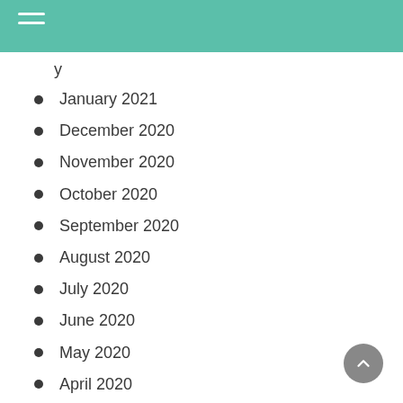January 2021
December 2020
November 2020
October 2020
September 2020
August 2020
July 2020
June 2020
May 2020
April 2020
March 2020
February 2020
January 2020
December 2019
November 2019
October 2019
September 2019